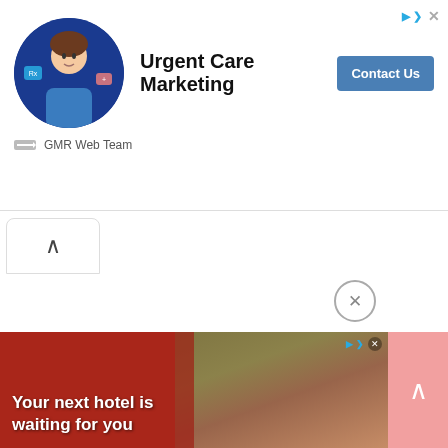[Figure (screenshot): Top advertisement banner for Urgent Care Marketing by GMR Web Team, showing a person in medical attire on a blue circle background, headline 'Urgent Care Marketing', and a 'Contact Us' button]
[Figure (screenshot): Collapse/chevron up button below the top ad banner]
[Figure (screenshot): Bottom advertisement banner with close X button, hotel cityscape image, text 'Your next hotel is waiting for you', and a pink scroll-to-top button]